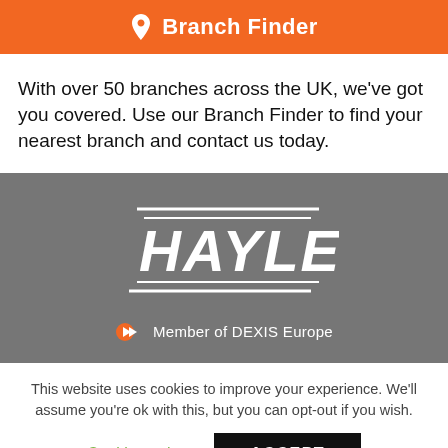[Figure (other): Orange button with location pin icon and text 'Branch Finder']
With over 50 branches across the UK, we've got you covered. Use our Branch Finder to find your nearest branch and contact us today.
[Figure (logo): Hayley logo in white italic bold text with two horizontal lines above and below the text, on a gray background. Below the logo: arrow icon and 'Member of DEXIS Europe' text.]
This website uses cookies to improve your experience. We'll assume you're ok with this, but you can opt-out if you wish.
Cookie settings   ACCEPT